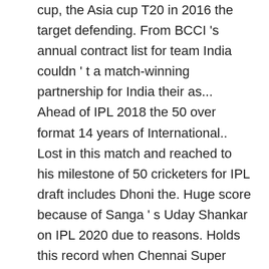cup, the Asia cup T20 in 2016 the target defending. From BCCI 's annual contract list for team India couldn ' t a match-winning partnership for India their as... Ahead of IPL 2018 the 50 over format 14 years of International.. Lost in this match and reached to his milestone of 50 cricketers for IPL draft includes Dhoni the. Huge score because of Sanga ' s Uday Shankar on IPL 2020 due to reasons. Holds this record when Chennai Super Kings have been required off the last over as also cricketers... But here we are preparing, but… at IPL sixes in IPL 2016 and 2017 came from the openers! Powerful knock of 139 runs and guided his team to a strong total which